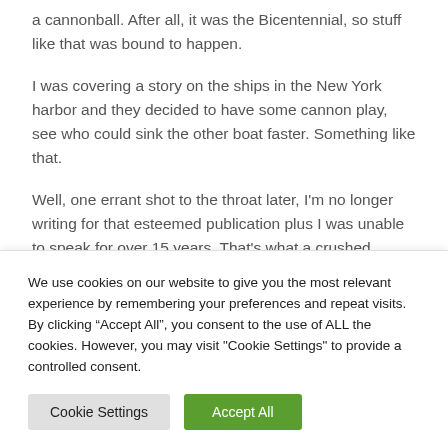a cannonball. After all, it was the Bicentennial, so stuff like that was bound to happen.
I was covering a story on the ships in the New York harbor and they decided to have some cannon play, see who could sink the other boat faster. Something like that.
Well, one errant shot to the throat later, I'm no longer writing for that esteemed publication plus I was unable to speak for over 15 years. That's what a crushed larynx
We use cookies on our website to give you the most relevant experience by remembering your preferences and repeat visits. By clicking “Accept All”, you consent to the use of ALL the cookies. However, you may visit "Cookie Settings" to provide a controlled consent.